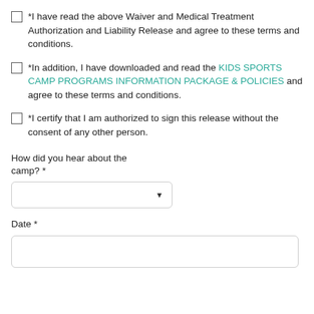*I have read the above Waiver and Medical Treatment Authorization and Liability Release and agree to these terms and conditions.
*In addition, I have downloaded and read the KIDS SPORTS CAMP PROGRAMS INFORMATION PACKAGE & POLICIES and agree to these terms and conditions.
*I certify that I am authorized to sign this release without the consent of any other person.
How did you hear about the camp? *
[Figure (other): Dropdown selector input field]
Date *
[Figure (other): Text input field for date]